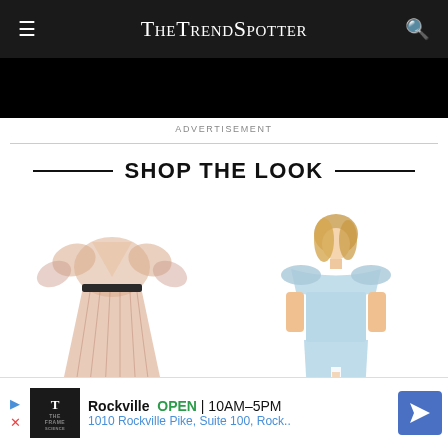TheTrendSpotter
ADVERTISEMENT
SHOP THE LOOK
[Figure (photo): A pink/rose gold pleated maxi dress with deep V-neckline, billowing sleeves, and black belt at waist, shown on white background]
[Figure (photo): A light blue off-shoulder draped gown worn by a blonde female model, with a front slit, shown on white background]
Rockville  OPEN | 10AM–5PM
1010 Rockville Pike, Suite 100, Rock..